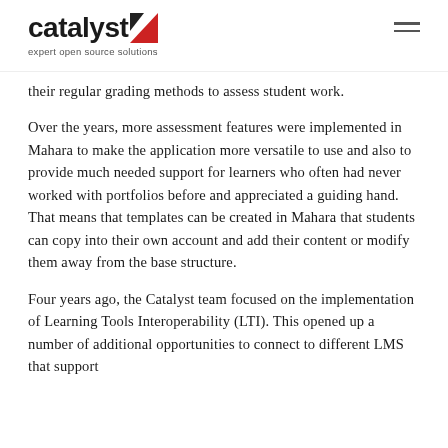catalyst — expert open source solutions
their regular grading methods to assess student work.
Over the years, more assessment features were implemented in Mahara to make the application more versatile to use and also to provide much needed support for learners who often had never worked with portfolios before and appreciated a guiding hand. That means that templates can be created in Mahara that students can copy into their own account and add their content or modify them away from the base structure.
Four years ago, the Catalyst team focused on the implementation of Learning Tools Interoperability (LTI). This opened up a number of additional opportunities to connect to different LMS that support